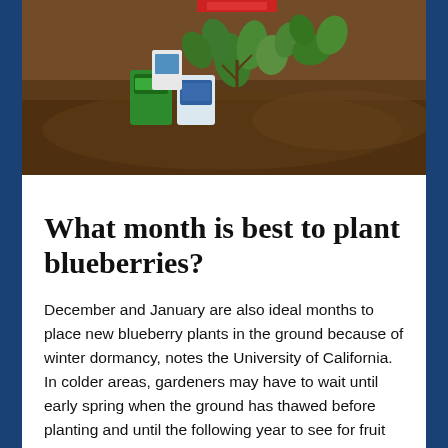[Figure (photo): Photograph of blueberry plants being planted in soil, with green garden product boxes and containers visible on the ground]
What month is best to plant blueberries?
December and January are also ideal months to place new blueberry plants in the ground because of winter dormancy, notes the University of California. In colder areas, gardeners may have to wait until early spring when the ground has thawed before planting and until the following year to see for fruit yields.
Are coffee grounds good